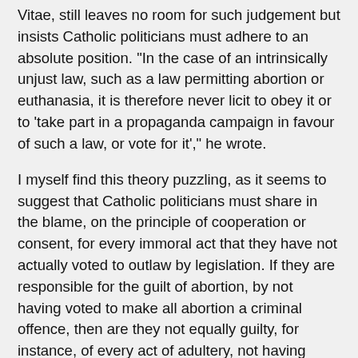Vitae, still leaves no room for such judgement but insists Catholic politicians must adhere to an absolute position. "In the case of an intrinsically unjust law, such as a law permitting abortion or euthanasia, it is therefore never licit to obey it or to 'take part in a propaganda campaign in favour of such a law, or vote for it'," he wrote.
I myself find this theory puzzling, as it seems to suggest that Catholic politicians must share in the blame, on the principle of cooperation or consent, for every immoral act that they have not actually voted to outlaw by legislation. If they are responsible for the guilt of abortion, by not having voted to make all abortion a criminal offence, then are they not equally guilty, for instance, of every act of adultery, not having voted to make all adultery a criminal offence? Having voted for instance to decriminalise suicide, are they then not morally responsible for the death of every person who kills himself? Nobody seems to think so. Abortion seems to be an anomaly.